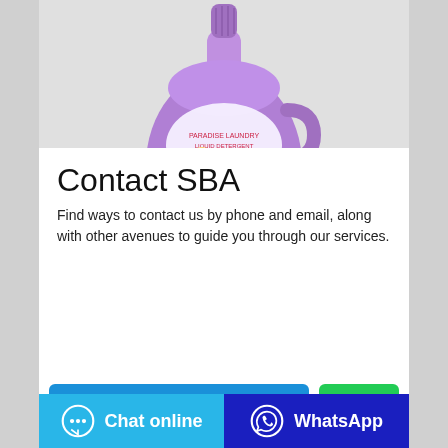[Figure (photo): Purple laundry detergent bottle with a label, photographed on a light gray background, cropped showing upper portion of bottle.]
Contact SBA
Find ways to contact us by phone and email, along with other avenues to guide you through our services.